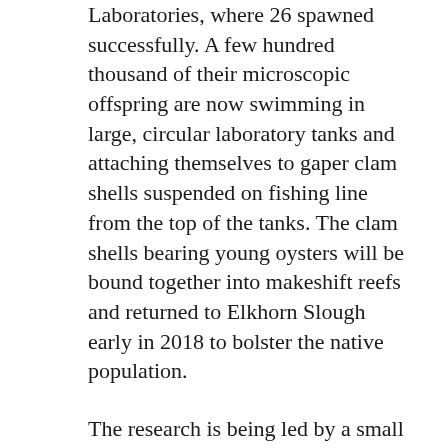Laboratories, where 26 spawned successfully. A few hundred thousand of their microscopic offspring are now swimming in large, circular laboratory tanks and attaching themselves to gaper clam shells suspended on fishing line from the top of the tanks. The clam shells bearing young oysters will be bound together into makeshift reefs and returned to Elkhorn Slough early in 2018 to bolster the native population.
The research is being led by a small group of scientists, including Wasson and graduate student Dan Gossard with funding provided by the Palo Alto-based Anthropocene Institute. These are uncharted waters for California scientists, however, and a major assist is coming from the aquaculture industry itself. Peter Hain of the Monterey Abalone Company has worked closely with the two researchers to set up the laboratory facility for the Olympia oysters and help with their care and feeding.
Due partly to their small size – an individual Olympia